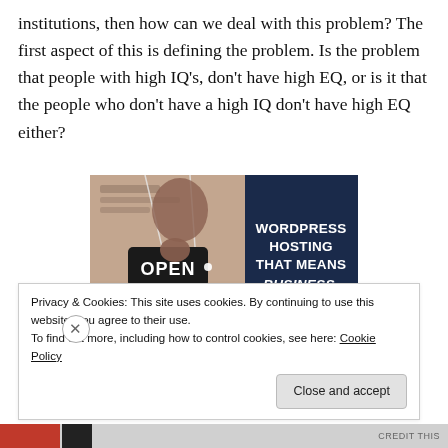institutions, then how can we deal with this problem? The first aspect of this is defining the problem. Is the problem that people with high IQ's, don't have high EQ, or is it that the people who don't have a high IQ don't have high EQ either?
[Figure (infographic): Advertisement banner showing a woman holding an OPEN sign on the left half (photo) and dark navy blue right half with text: WORDPRESS HOSTING THAT MEANS BUSINESS.]
Privacy & Cookies: This site uses cookies. By continuing to use this website, you agree to their use.
To find out more, including how to control cookies, see here: Cookie Policy